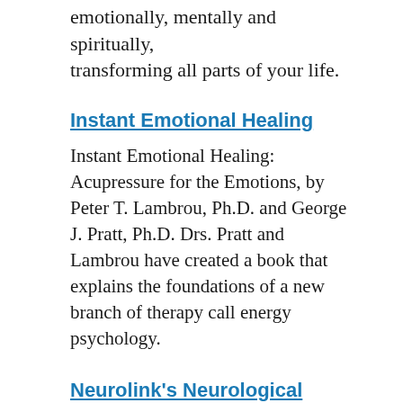emotionally, mentally and spiritually, transforming all parts of your life.
Instant Emotional Healing
Instant Emotional Healing: Acupressure for the Emotions, by Peter T. Lambrou, Ph.D. and George J. Pratt, Ph.D. Drs. Pratt and Lambrou have created a book that explains the foundations of a new branch of therapy call energy psychology.
Neurolink's Neurological Integration System
NIS is based on the premise that biological